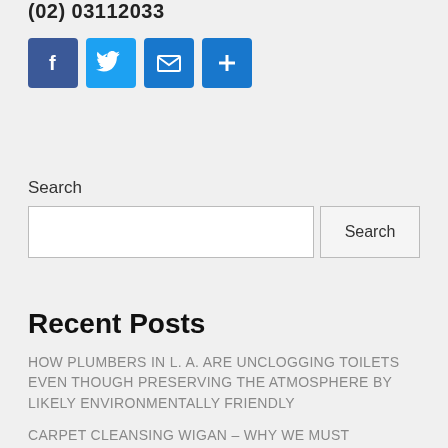(02) 03112033
[Figure (illustration): Social media share icons: Facebook (blue), Twitter (light blue), Email (blue envelope), Share/Plus (blue plus sign)]
Search
Search (input field and button)
Recent Posts
HOW PLUMBERS IN L. A. ARE UNCLOGGING TOILETS EVEN THOUGH PRESERVING THE ATMOSPHERE BY LIKELY ENVIRONMENTALLY FRIENDLY
CARPET CLEANSING WIGAN – WHY WE MUST